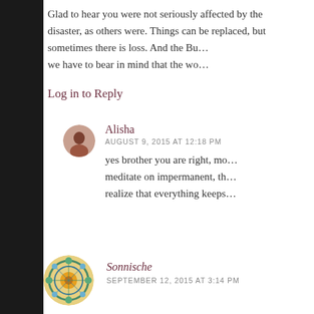Glad to hear you were not seriously affected by the disaster, as others were. Things can be replaced, but sometimes there is loss. And the Buddhist viewpoint, we have to bear in mind that the wo…
Log in to Reply
Alisha
AUGUST 9, 2015 AT 12:18 PM
yes brother you are right, mo… meditate on impermanent, th… realize that everything keeps…
Sonnische
SEPTEMBER 12, 2015 AT 3:14 PM